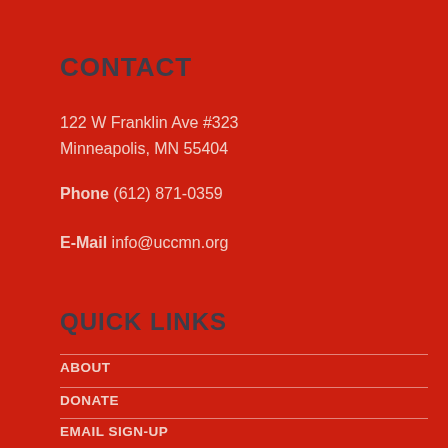CONTACT
122 W Franklin Ave #323
Minneapolis, MN 55404
Phone (612) 871-0359
E-Mail info@uccmn.org
QUICK LINKS
ABOUT
DONATE
EMAIL SIGN-UP